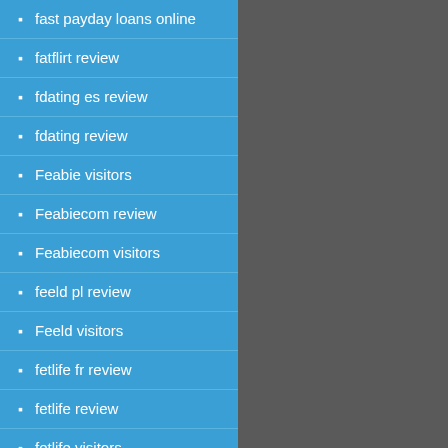fast payday loans online
fatflirt review
fdating es review
fdating review
Feabie visitors
Feabiecom review
Feabiecom visitors
feeld pl review
Feeld visitors
fetlife fr review
fetlife review
fetlife visitors
find payday loans